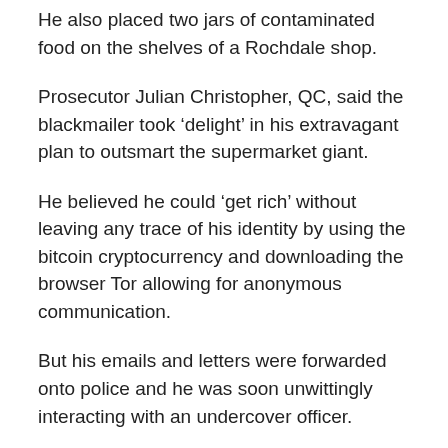He also placed two jars of contaminated food on the shelves of a Rochdale shop.
Prosecutor Julian Christopher, QC, said the blackmailer took ‘delight’ in his extravagant plan to outsmart the supermarket giant.
He believed he could ‘get rich’ without leaving any trace of his identity by using the bitcoin cryptocurrency and downloading the browser Tor allowing for anonymous communication.
But his emails and letters were forwarded onto police and he was soon unwittingly interacting with an undercover officer.
A draft of an email to Tesco was found on one of Wright’s